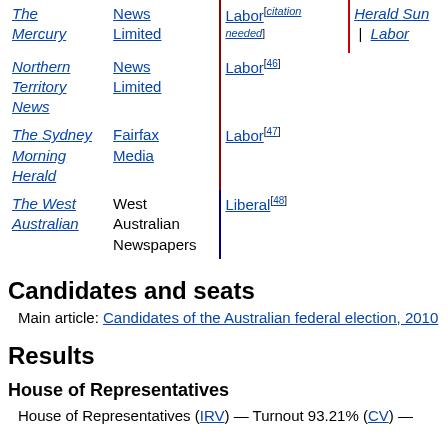| Newspaper | Owner | Support | Previous |
| --- | --- | --- | --- |
| The Mercury | News Limited | Labor[citation needed] | Herald Sun | Labor |
| Northern Territory News | News Limited | Labor[46] |  |
| The Sydney Morning Herald | Fairfax Media | Labor[47] |  |
| The West Australian | West Australian Newspapers | Liberal[48] |  |
Candidates and seats
Main article: Candidates of the Australian federal election, 2010
Results
House of Representatives
House of Representatives (IRV) — Turnout 93.21% (CV) —